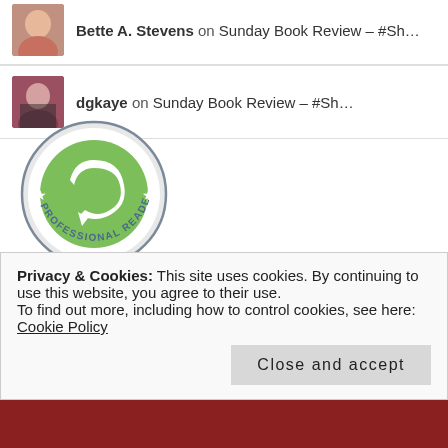Bette A. Stevens on Sunday Book Review – #Sh…
dgkaye on Sunday Book Review – #Sh…
[Figure (logo): NetGalley Member Professional Reader circular badge with green swirl logo]
Privacy & Cookies: This site uses cookies. By continuing to use this website, you agree to their use. To find out more, including how to control cookies, see here: Cookie Policy
Close and accept